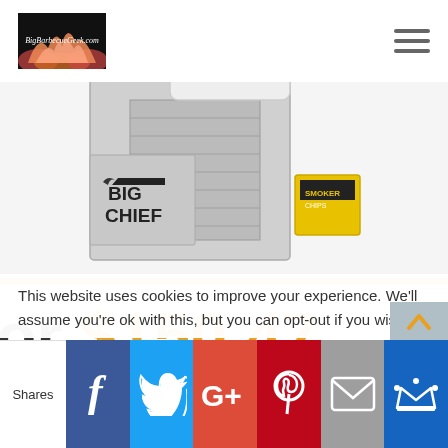BigBarbecueGeek.com [logo] [hamburger menu]
[Figure (photo): Big Chief front-load smoker product image with box and accessories on white background]
or $150.47
s Big Chief Front
This website uses cookies to improve your experience. We'll assume you're ok with this, but you can opt-out if you wish.
Shares [Facebook] [Twitter] [Google+] [Pinterest] [Email] [Crown]